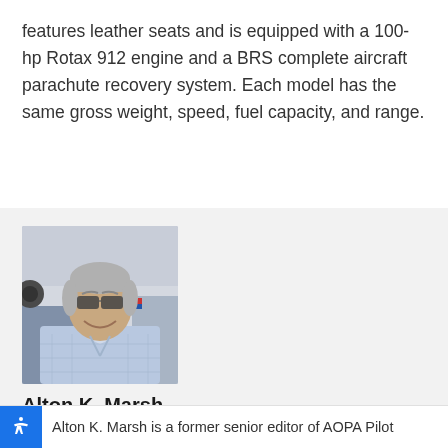features leather seats and is equipped with a 100-hp Rotax 912 engine and a BRS complete aircraft parachute recovery system. Each model has the same gross weight, speed, fuel capacity, and range.
[Figure (photo): Headshot photo of Alton K. Marsh, an older gentleman with gray hair and sunglasses, smiling, wearing a light blue plaid shirt, with an aircraft propeller/hangar background.]
Alton K. Marsh
Freelance journalist
Alton K. Marsh is a former senior editor of AOPA Pilot